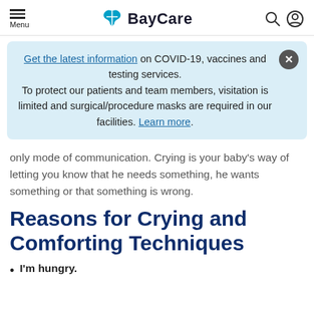Menu | BayCare
Get the latest information on COVID-19, vaccines and testing services. To protect our patients and team members, visitation is limited and surgical/procedure masks are required in our facilities. Learn more.
only mode of communication. Crying is your baby's way of letting you know that he needs something, he wants something or that something is wrong.
Reasons for Crying and Comforting Techniques
I'm hungry.